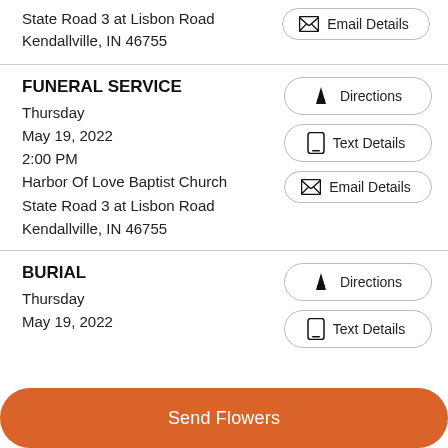State Road 3 at Lisbon Road
Kendallville, IN 46755
Email Details
FUNERAL SERVICE
Thursday
May 19, 2022
2:00 PM
Harbor Of Love Baptist Church
State Road 3 at Lisbon Road
Kendallville, IN 46755
Directions
Text Details
Email Details
BURIAL
Thursday
May 19, 2022
Directions
Text Details
Send Flowers